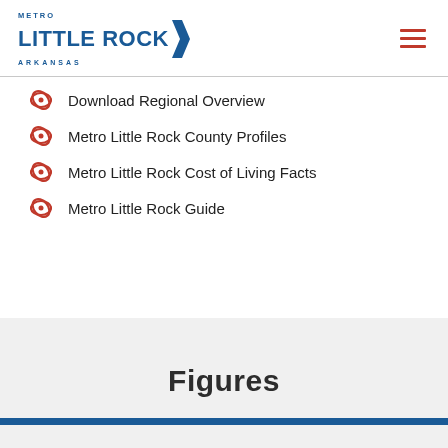METRO LITTLE ROCK ARKANSAS
Download Regional Overview
Metro Little Rock County Profiles
Metro Little Rock Cost of Living Facts
Metro Little Rock Guide
Figures